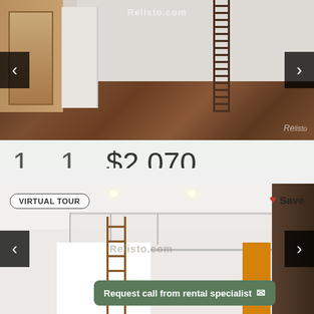[Figure (photo): Interior photo of apartment with hardwood floors, white walls, wooden door, and a loft ladder visible. Navigation arrows on left and right. Relisto.com watermark.]
1 beds   1 bath   $2,070 /month
[Figure (photo): Interior photo of apartment showing loft with metal railing, wooden ladder, recessed lighting, white walls, and dark wood accent wall. Virtual Tour badge in top left, Save button in top right, Request call from rental specialist button in bottom right.]